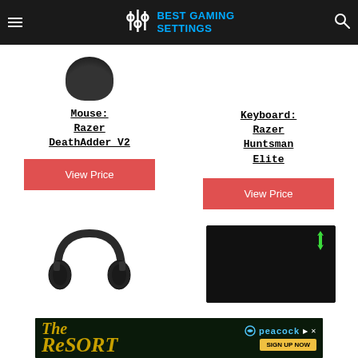Best Gaming Settings
[Figure (photo): Partial view of a black gaming mouse (top portion cut off at top of content area)]
Mouse:
Razer DeathAdder V2
Keyboard:
Razer Huntsman Elite
View Price
View Price
[Figure (photo): Black over-ear headphones (Audio-Technica style), partially shown]
[Figure (photo): Black Razer mousepad with Razer logo in top-right corner]
[Figure (photo): The Resort advertisement banner with Peacock streaming service logo and 'Sign Up Now' button]